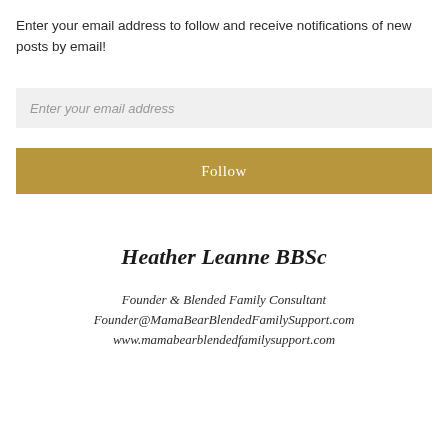Enter your email address to follow and receive notifications of new posts by email!
Enter your email address
Follow
Heather Leanne BBSc
Founder & Blended Family Consultant
Founder@MamaBearBlendedFamilySupport.com
www.mamabearblendedfamilysupport.com